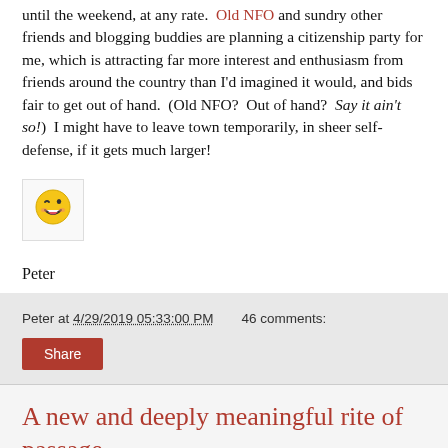until the weekend, at any rate. Old NFO and sundry other friends and blogging buddies are planning a citizenship party for me, which is attracting far more interest and enthusiasm from friends around the country than I'd imagined it would, and bids fair to get out of hand. (Old NFO? Out of hand? Say it ain't so!) I might have to leave town temporarily, in sheer self-defense, if it gets much larger!
[Figure (illustration): Winking smiley face emoji in a bordered box]
Peter
Peter at 4/29/2019 05:33:00 PM   46 comments:
A new and deeply meaningful rite of passage